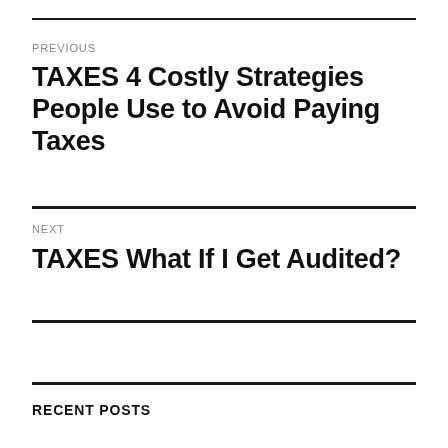PREVIOUS
TAXES 4 Costly Strategies People Use to Avoid Paying Taxes
NEXT
TAXES What If I Get Audited?
RECENT POSTS